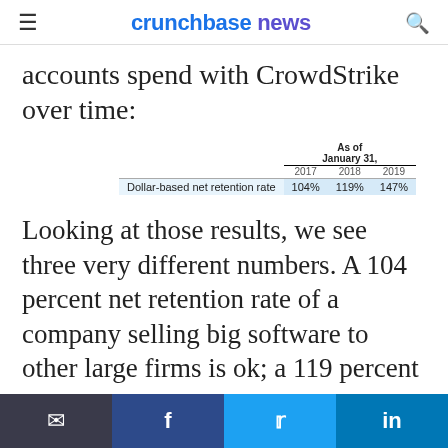crunchbase news
accounts spend with CrowdStrike over time:
|  | 2017 | 2018 | 2019 |
| --- | --- | --- | --- |
| Dollar-based net retention rate | 104% | 119% | 147% |
Looking at those results, we see three very different numbers. A 104 percent net retention rate of a company selling big software to other large firms is ok; a 119 percent net retention rate is good; and a 147
email facebook twitter linkedin